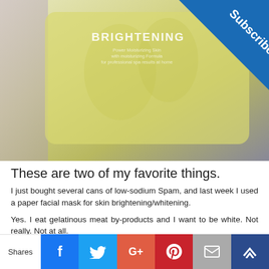[Figure (photo): Photo of a yellow/gold paper brightening facial mask packet with 'BRIGHTENING' text visible, with blue 'Subscribe' corner badge overlay]
These are two of my favorite things.
I just bought several cans of low-sodium Spam, and last week I used a paper facial mask for skin brightening/whitening.
Yes. I eat gelatinous meat by-products and I want to be white. Not really. Not at all.
I don't want to be white, though there was a time when I did. I'm just vain and human. I am heading into my mid-40s, getting ready to launch my firstborn, wondering